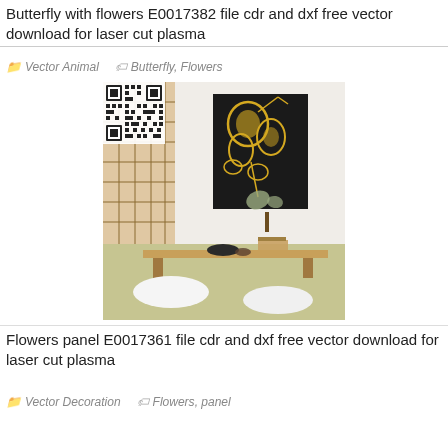Butterfly with flowers E0017382 file cdr and dxf free vector download for laser cut plasma
Vector Animal   Butterfly, Flowers
[Figure (photo): Room interior with Japanese-style sliding door (shoji), a low wooden table with a tea set and books, white floor cushions, a decorative plant, and a black wall panel with golden flower/botanical laser-cut artwork. A QR code is overlaid in the top-left corner of the image.]
Flowers panel E0017361 file cdr and dxf free vector download for laser cut plasma
Vector Decoration   Flowers, panel